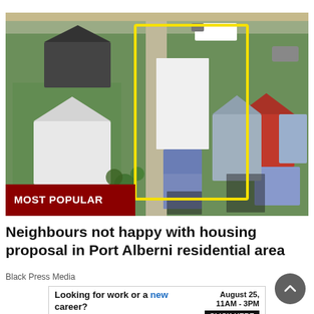[Figure (photo): Aerial satellite view of a residential neighbourhood in Port Alberni showing multiple houses and yards. A yellow rectangular outline highlights two lots side by side, marking a housing proposal area. A red 'MOST POPULAR' badge overlays the bottom-left corner of the image.]
Neighbours not happy with housing proposal in Port Alberni residential area
Black Press Media
[Figure (other): Advertisement banner: 'Looking for work or a new career? August 25, 11AM - 3PM. Featuring 25+ Exhibitors and Growing! CLICK HERE']